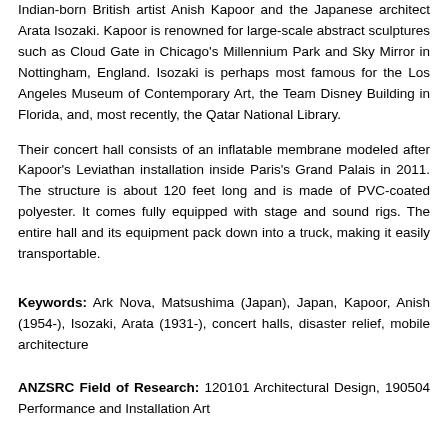Indian-born British artist Anish Kapoor and the Japanese architect Arata Isozaki. Kapoor is renowned for large-scale abstract sculptures such as Cloud Gate in Chicago's Millennium Park and Sky Mirror in Nottingham, England. Isozaki is perhaps most famous for the Los Angeles Museum of Contemporary Art, the Team Disney Building in Florida, and, most recently, the Qatar National Library.
Their concert hall consists of an inflatable membrane modeled after Kapoor's Leviathan installation inside Paris's Grand Palais in 2011. The structure is about 120 feet long and is made of PVC-coated polyester. It comes fully equipped with stage and sound rigs. The entire hall and its equipment pack down into a truck, making it easily transportable.
Keywords: Ark Nova, Matsushima (Japan), Japan, Kapoor, Anish (1954-), Isozaki, Arata (1931-), concert halls, disaster relief, mobile architecture
ANZSRC Field of Research: 120101 Architectural Design, 190504 Performance and Installation Art